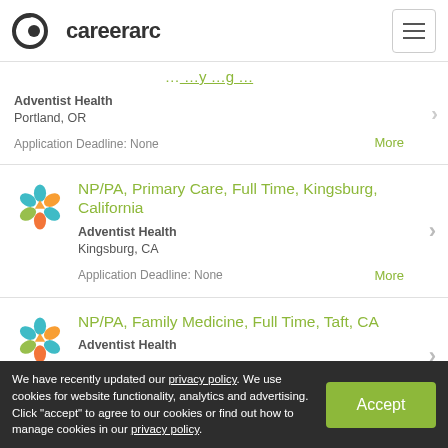careerarc
[partial job title - cropped]
Adventist Health
Portland, OR
Application Deadline: None
NP/PA, Primary Care, Full Time, Kingsburg, California
Adventist Health
Kingsburg, CA
Application Deadline: None
NP/PA, Family Medicine, Full Time, Taft, CA
Adventist Health
We have recently updated our privacy policy. We use cookies for website functionality, analytics and advertising. Click "accept" to agree to our cookies or find out how to manage cookies in our privacy policy.